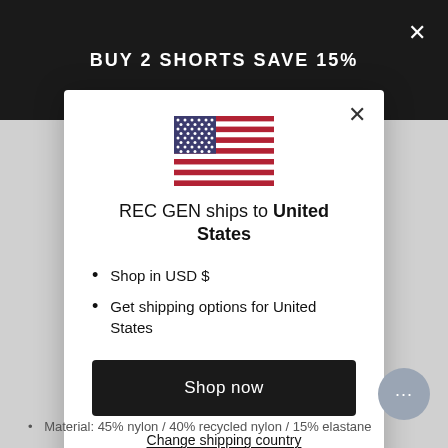BUY 2 SHORTS SAVE 15%
[Figure (illustration): US flag icon]
REC GEN ships to United States
Shop in USD $
Get shipping options for United States
Shop now
Change shipping country
Material: 45% nylon / 40% recycled nylon / 15% elastane